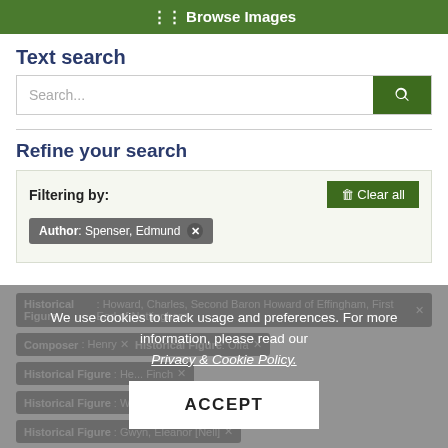Browse Images
Text search
Search...
Refine your search
Filtering by:
Clear all
Author: Spenser, Edmund ✕
Historical Figure: Howard, Charles, Second Baron Howard of Effingham, First Earl of Nottingham ✕
Composer: Henry ✕ Historical Figure: Offa ✕
Historical Figure: He... Finch ✕
Historical Figure: W... r ✕
Historical Figure: Gwyn, Eleanor [Nell] ✕
We use cookies to track usage and preferences. For more information, please read our Privacy & Cookie Policy.
ACCEPT